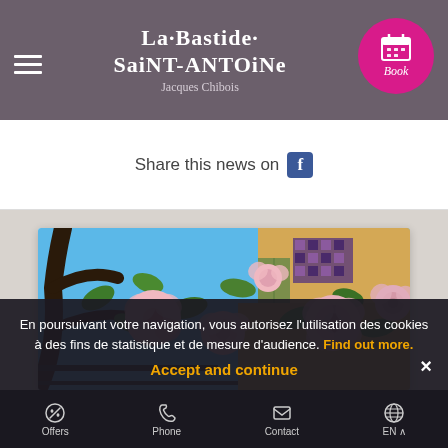La Bastide Saint-Antoine – Jacques Chibois
Share this news on
[Figure (photo): Pink roses blooming against a blue sky with a Provençal building facade in the background]
En poursuivant votre navigation, vous autorisez l'utilisation des cookies à des fins de statistique et de mesure d'audience. Find out more. Accept and continue